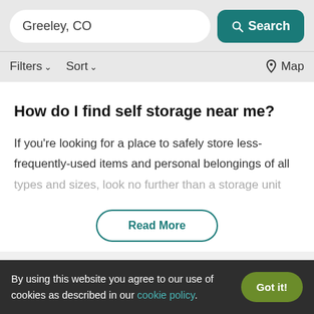Greeley, CO | Search | Filters | Sort | Map
How do I find self storage near me?
If you're looking for a place to safely store less-frequently-used items and personal belongings of all types and sizes, look no further than a storage unit
Read More
By using this website you agree to our use of cookies as described in our cookie policy. Got it!